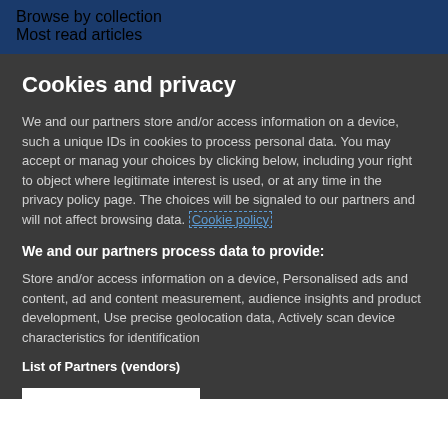Browse by collection
Most read articles
Cookies and privacy
We and our partners store and/or access information on a device, such a unique IDs in cookies to process personal data. You may accept or manag your choices by clicking below, including your right to object where legitimate interest is used, or at any time in the privacy policy page. The choices will be signaled to our partners and will not affect browsing data. Cookie policy
We and our partners process data to provide:
Store and/or access information on a device, Personalised ads and content, ad and content measurement, audience insights and product development, Use precise geolocation data, Actively scan device characteristics for identification
List of Partners (vendors)
I Accept